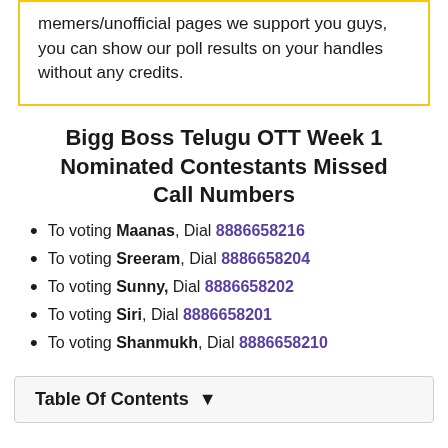memers/unofficial pages we support you guys, you can show our poll results on your handles without any credits.
Bigg Boss Telugu OTT Week 1 Nominated Contestants Missed Call Numbers
To voting Maanas, Dial 8886658216
To voting Sreeram, Dial 8886658204
To voting Sunny, Dial 8886658202
To voting Siri, Dial 8886658201
To voting Shanmukh, Dial 8886658210
Table Of Contents